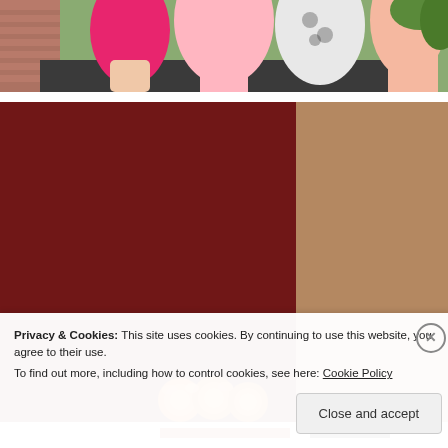[Figure (photo): Three women sitting together outdoors on a bench in front of a brick wall, wearing pink and floral dresses]
[Figure (photo): Studio photo with dark red and tan/beige background panels, with orange roses visible at the bottom center]
Privacy & Cookies: This site uses cookies. By continuing to use this website, you agree to their use.
To find out more, including how to control cookies, see here: Cookie Policy
Close and accept